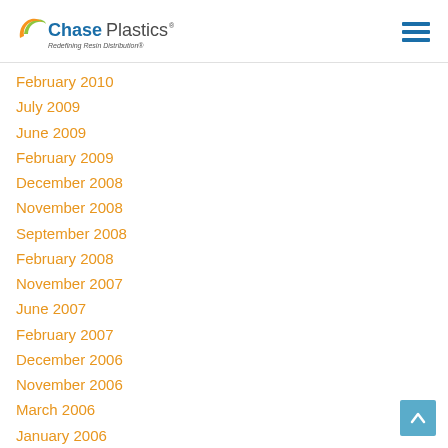Chase Plastics — Redefining Resin Distribution®
February 2010
July 2009
June 2009
February 2009
December 2008
November 2008
September 2008
February 2008
November 2007
June 2007
February 2007
December 2006
November 2006
March 2006
January 2006